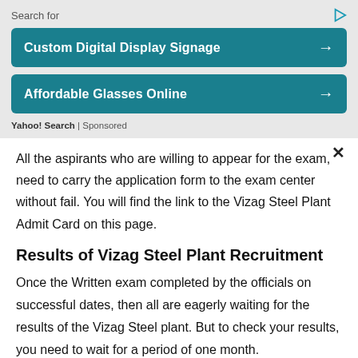[Figure (screenshot): Advertisement banner with 'Search for' label, two teal buttons: 'Custom Digital Display Signage' and 'Affordable Glasses Online', with right arrows, Yahoo! Search | Sponsored label]
All the aspirants who are willing to appear for the exam, need to carry the application form to the exam center without fail. You will find the link to the Vizag Steel Plant Admit Card on this page.
Results of Vizag Steel Plant Recruitment
Once the Written exam completed by the officials on successful dates, then all are eagerly waiting for the results of the Vizag Steel plant. But to check your results, you need to wait for a period of one month.